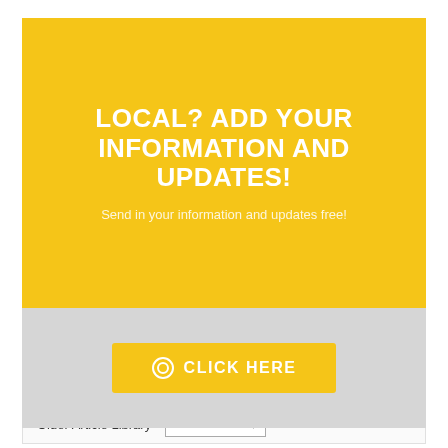LOCAL? ADD YOUR INFORMATION AND UPDATES!
Send in your information and updates free!
CLICK HERE
OLDER ARTICLE LIBRARY
Older Article Library Select Month